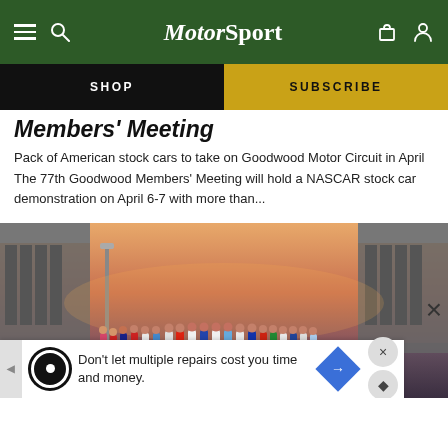MotorSport
SHOP | SUBSCRIBE
Members' Meeting
Pack of American stock cars to take on Goodwood Motor Circuit in April The 77th Goodwood Members' Meeting will hold a NASCAR stock car demonstration on April 6-7 with more than...
[Figure (photo): Group of racing drivers in colorful race suits walking on a track at sunset, grandstands visible on either side, warm orange sky in background]
Don't let multiple repairs cost you time and money.